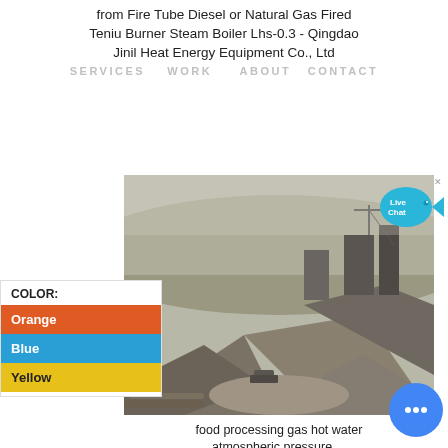from Fire Tube Diesel or Natural Gas Fired Teniu Burner Steam Boiler Lhs-0.3 - Qingdao Jinil Heat Energy Equipment Co., Ltd
SERVICES  WORK  ABOUT  CONTACT
[Figure (photo): Industrial mining or quarry site with large piles of gravel/rock, heavy machinery and equipment in a hazy outdoor environment.]
COLOR:
Orange
Blue
Yellow
food processing gas hot water atmospheric pressure ...
[Figure (other): Live Chat button - cyan speech bubble with fish tail, labeled 'Live Chat']
[Figure (other): Blue circular chat/messenger button with three dots]